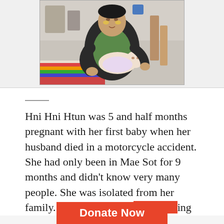[Figure (photo): A woman sitting and holding a newborn baby, wearing a green shirt and dark jacket, with colorful fabric visible in the background. The setting appears to be outdoors or in a covered market area.]
Hni Hni Htun was 5 and half months pregnant with her first baby when her husband died in a motorcycle accident. She had only been in Mae Sot for 9 months and didn't know very many people. She was isolated from her family. Due to the pande… ing
Donate Now